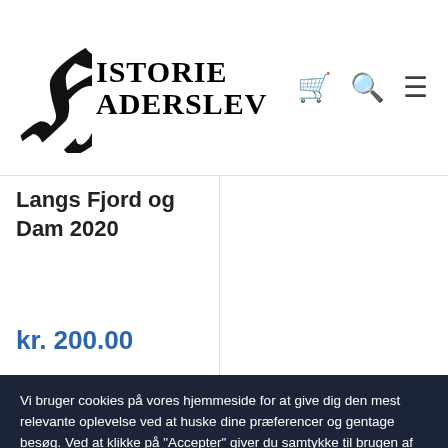[Figure (logo): Historie Haderslev website logo — decorative Gothic H letter followed by 'HISTORIE' and 'HADERSLEV' in bold serif]
Langs Fjord og Dam 2020
kr. 200.00
Vi bruger cookies på vores hjemmeside for at give dig den mest relevante oplevelse ved at huske dine præferencer og gentage besøg. Ved at klikke på "Accepter" giver du samtykke til brugen af ALLE cookies.
Cookieindstillinger
ACCEPTER